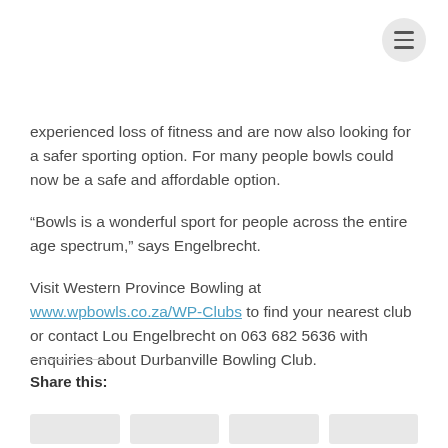experienced loss of fitness and are now also looking for a safer sporting option. For many people bowls could now be a safe and affordable option.
“Bowls is a wonderful sport for people across the entire age spectrum,” says Engelbrecht.
Visit Western Province Bowling at www.wpbowls.co.za/WP-Clubs to find your nearest club or contact Lou Engelbrecht on 063 682 5636 with enquiries about Durbanville Bowling Club.
Share this: